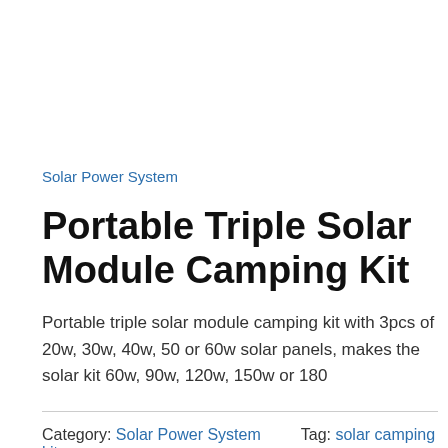Solar Power System
Portable Triple Solar Module Camping Kit
Portable triple solar module camping kit with 3pcs of 20w, 30w, 40w, 50 or 60w solar panels, makes the solar kit 60w, 90w, 120w, 150w or 180
Category: Solar Power System    Tag: solar camping kit